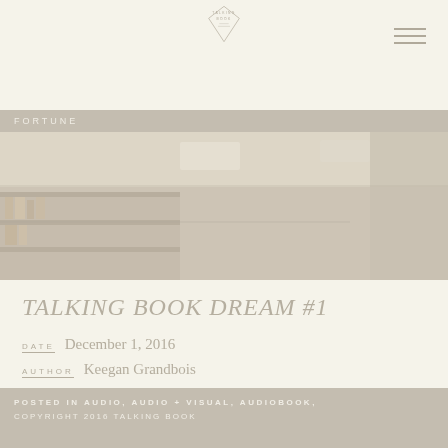TALKING BOOK
[Figure (illustration): Interior room scene with bookshelves and ceiling lights, muted warm tones]
FORTUNE
TALKING BOOK DREAM #1
DATE   December 1, 2016
AUTHOR   Keegan Grandbois
Talking Book is a modern audiobook house located in the misty mountains of Asheville, NC. We record and publish the works of vital, innovative authors, offer high-caliber audio production...
POSTED IN AUDIO, AUDIO + VISUAL, AUDIOBOOK, COPYRIGHT 2016 TALKING BOOK